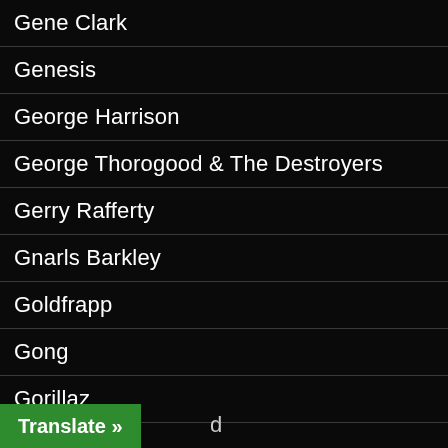Gene Clark
Genesis
George Harrison
George Thorogood & The Destroyers
Gerry Rafferty
Gnarls Barkley
Goldfrapp
Gong
Gorillaz
Gossip
Gracious!
Graham Coxon